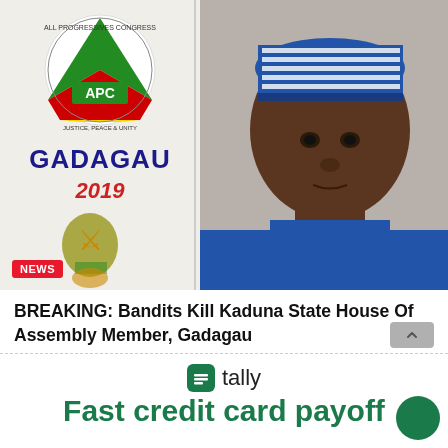[Figure (photo): Political campaign poster featuring a young man in blue traditional Nigerian attire and striped cap, with APC (All Progressives Congress) logo, text 'GADAGAU 2019', and Nigerian coat of arms. Red NEWS badge overlaid at bottom left.]
BREAKING: Bandits Kill Kaduna State House Of Assembly Member, Gadagau
[Figure (logo): Tally app logo and tagline: tally icon (green square with white lines) followed by 'tally' text, and below 'Fast credit card payoff' in green bold text.]